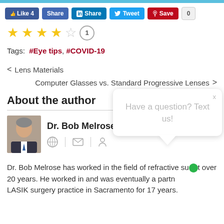[Figure (screenshot): Social share bar with Like 4, Share, LinkedIn Share, Tweet, Pinterest Save buttons and count 0]
[Figure (other): 4 out of 5 star rating with count 1]
Tags: #Eye tips, #COVID-19
< Lens Materials
Computer Glasses vs. Standard Progressive Lenses >
About the author
Dr. Bob Melrose
Dr. Bob Melrose has worked in the field of refractive surgery over 20 years. He worked in and was eventually a partner LASIK surgery practice in Sacramento for 17 years
[Figure (screenshot): Chat popup with text 'Have a question? Text us!' and green chat button]